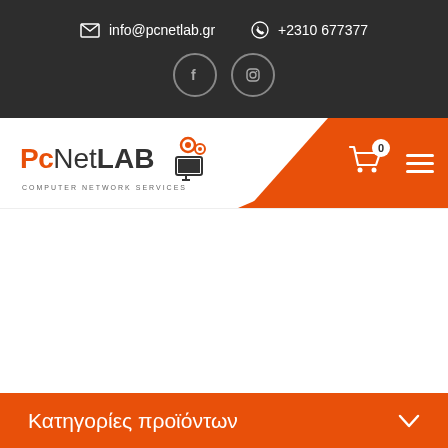info@pcnetlab.gr  +2310 677377
[Figure (logo): PcNetLAB logo with gears and monitor icon, Computer Network Services tagline]
Κατηγορίες προϊόντων